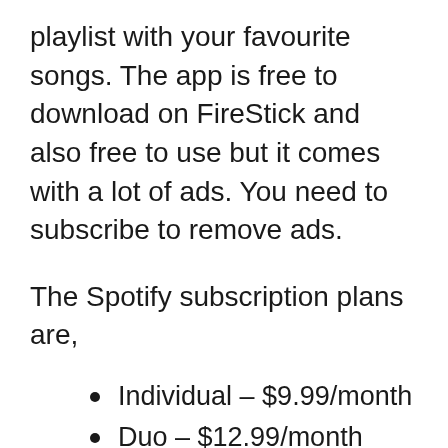playlist with your favourite songs. The app is free to download on FireStick and also free to use but it comes with a lot of ads. You need to subscribe to remove ads.
The Spotify subscription plans are,
Individual – $9.99/month
Duo – $12.99/month
Family – $15.99/month
Student – $4.99/month